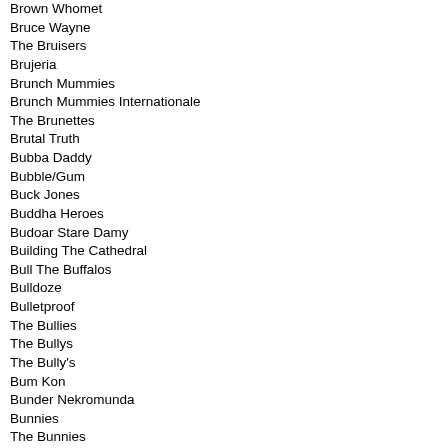Brown Whomet
Bruce Wayne
The Bruisers
Brujeria
Brunch Mummies
Brunch Mummies Internationale
The Brunettes
Brutal Truth
Bubba Daddy
Bubble/Gum
Buck Jones
Buddha Heroes
Budoar Stare Damy
Building The Cathedral
Bull The Buffalos
Bulldoze
Bulletproof
The Bullies
The Bullys
The Bully's
Bum Kon
Bunder Nekromunda
Bunnies
The Bunnies
Burial Hex
Buried Inside
Burn
Burn Kate
Burning Tree Projekt
The Burnt
Burnt By The Sun
Bush Tetras
The Business
...But Not Forgotten
...But Ugly
Butch Lust
Butch Lust and the Hypocrites
Butch Lust & The Hypocrites